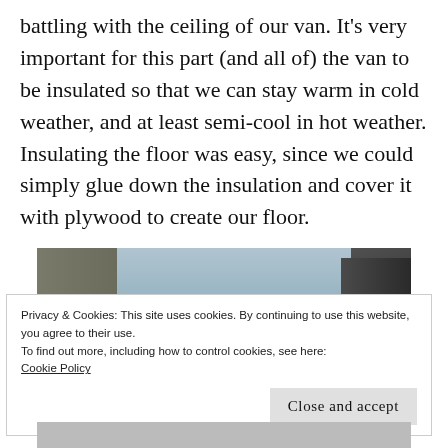battling with the ceiling of our van. It's very important for this part (and all of) the van to be insulated so that we can stay warm in cold weather, and at least semi-cool in hot weather. Insulating the floor was easy, since we could simply glue down the insulation and cover it with plywood to create our floor.
[Figure (photo): Interior view of a van showing the front seats, dashboard, and windshield area during a conversion project.]
Privacy & Cookies: This site uses cookies. By continuing to use this website, you agree to their use.
To find out more, including how to control cookies, see here:
Cookie Policy

Close and accept